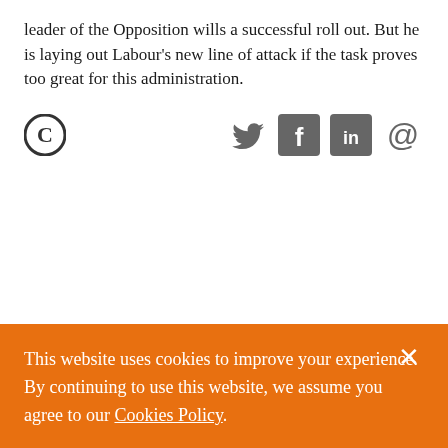leader of the Opposition wills a successful roll out. But he is laying out Labour's new line of attack if the task proves too great for this administration.
[Figure (logo): Circular C logo (Clintons/brand logo) on the left; Twitter bird icon, Facebook F icon, LinkedIn 'in' icon, and email @ icon on the right, all in grey]
This website uses cookies to improve your experience. By continuing to use this website, we assume you agree to our Cookies Policy.